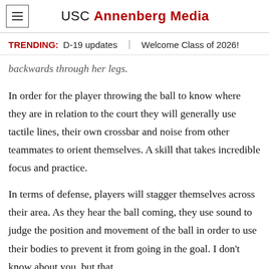USC Annenberg Media
TRENDING: D-19 updates | Welcome Class of 2026!
backwards through her legs.
In order for the player throwing the ball to know where they are in relation to the court they will generally use tactile lines, their own crossbar and noise from other teammates to orient themselves. A skill that takes incredible focus and practice.
In terms of defense, players will stagger themselves across their area. As they hear the ball coming, they use sound to judge the position and movement of the ball in order to use their bodies to prevent it from going in the goal. I don't know about you, but that